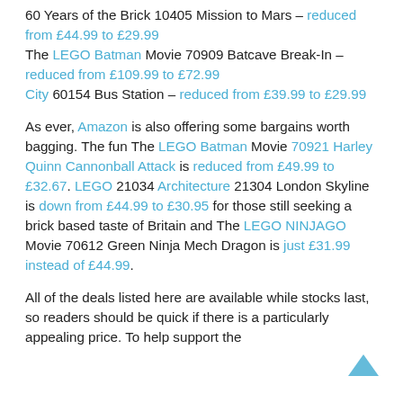60 Years of the Brick 10405 Mission to Mars – reduced from £44.99 to £29.99
The LEGO Batman Movie 70909 Batcave Break-In – reduced from £109.99 to £72.99
City 60154 Bus Station – reduced from £39.99 to £29.99
As ever, Amazon is also offering some bargains worth bagging. The fun The LEGO Batman Movie 70921 Harley Quinn Cannonball Attack is reduced from £49.99 to £32.67. LEGO 21034 Architecture 21304 London Skyline is down from £44.99 to £30.95 for those still seeking a brick based taste of Britain and The LEGO NINJAGO Movie 70612 Green Ninja Mech Dragon is just £31.99 instead of £44.99.
All of the deals listed here are available while stocks last, so readers should be quick if there is a particularly appealing price. To help support the